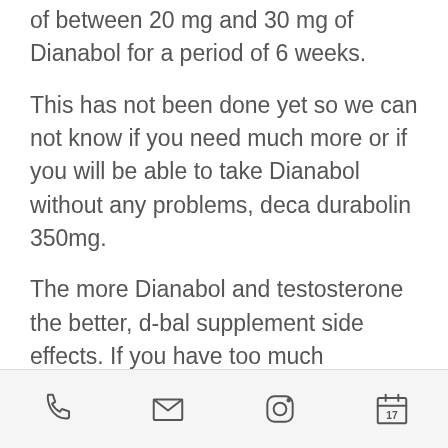of between 20 mg and 30 mg of Dianabol for a period of 6 weeks.
This has not been done yet so we can not know if you need much more or if you will be able to take Dianabol without any problems, deca durabolin 350mg.
The more Dianabol and testosterone the better, d-bal supplement side effects. If you have too much Dianabol then take some less, lgd 4033 8 week results. If you take too much testosterone it will be hard to increase your testosterone with low doses of Dianabol. If you take too many Dianabol you will get low testosterone and you will stop looking and looking hard.
How can you keep up with Dianabol and get
[toolbar icons: phone, email, instagram, calendar]